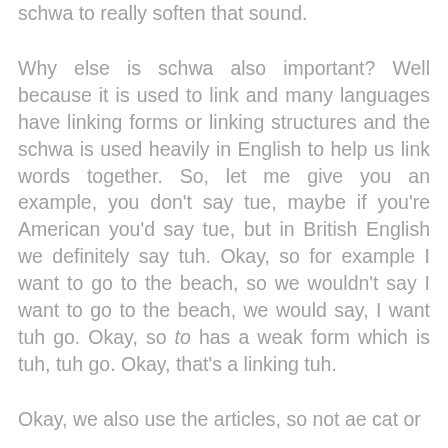schwa to really soften that sound.
Why else is schwa also important? Well because it is used to link and many languages have linking forms or linking structures and the schwa is used heavily in English to help us link words together. So, let me give you an example, you don't say tue, maybe if you're American you'd say tue, but in British English we definitely say tuh. Okay, so for example I want to go to the beach, so we wouldn't say I want to go to the beach, we would say, I want tuh go. Okay, so to has a weak form which is tuh, tuh go. Okay, that's a linking tuh.
Okay, we also use the articles, so not ae cat or